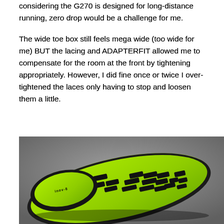considering the G270 is designed for long-distance running, zero drop would be a challenge for me.
The wide toe box still feels mega wide (too wide for me) BUT the lacing and ADAPTERFIT allowed me to compensate for the room at the front by tightening appropriately. However, I did fine once or twice I over-tightened the laces only having to stop and loosen them a little.
[Figure (photo): Bottom view of a running shoe (Inov-8 G270) showing the sole with black rubber lugs and bright lime/neon green midsole pattern, photographed on a grey surface from a low angle perspective.]